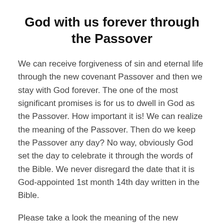God with us forever through the Passover
We can receive forgiveness of sin and eternal life through the new covenant Passover and then we stay with God forever. The one of the most significant promises is for us to dwell in God as the Passover. How important it is! We can realize the meaning of the Passover. Then do we keep the Passover any day? No way, obviously God set the day to celebrate it through the words of the Bible. We never disregard the date that it is God-appointed 1st month 14th day written in the Bible.
Please take a look the meaning of the new covenant Passover through the Bible.